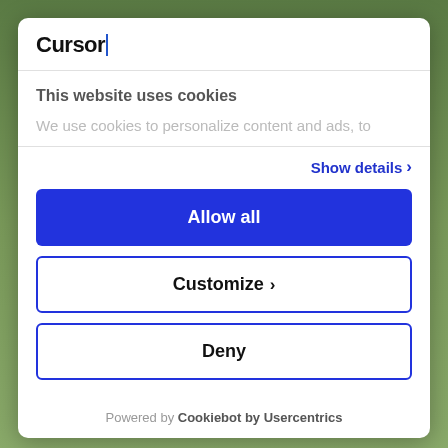Cursor|
This website uses cookies
We use cookies to personalize content and ads, to
Show details ›
Allow all
Customize ›
Deny
Powered by Cookiebot by Usercentrics